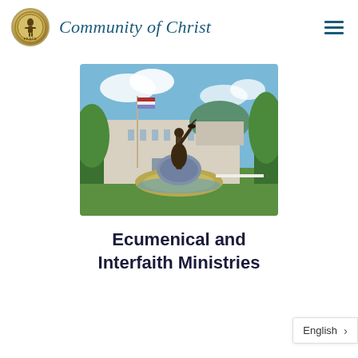Community of Christ
[Figure (photo): Outdoor photo of a bronze statue of a robed figure with arm raised holding a bird, set on a globe-shaped fountain, in front of a large white stone building with green dome, with trees and American flag in background. This is the World Headquarters of Community of Christ in Independence, Missouri.]
Ecumenical and Interfaith Ministries
English